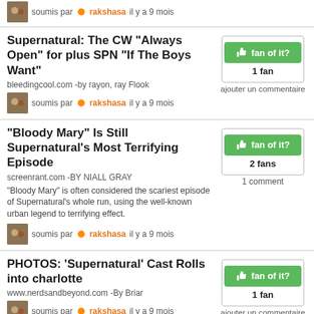soumis par rakshasa il y a 9 mois
Supernatural: The CW "Always Open" for plus SPN "If The Boys Want"
bleedingcool.com -by rayon, ray Flook
soumis par rakshasa il y a 9 mois
fan of it? 1 fan ajouter un commentaire
"Bloody Mary" Is Still Supernatural's Most Terrifying Episode
screenrant.com -BY NIALL GRAY - "Bloody Mary" is often considered the scariest episode of Supernatural's whole run, using the well-known urban legend to terrifying effect.
soumis par rakshasa il y a 9 mois
fan of it? 2 fans 1 comment
PHOTOS: 'Supernatural' Cast Rolls into charlotte
www.nerdsandbeyond.com -By Briar
soumis par rakshasa il y a 9 mois
fan of it? 1 fan ajouter un commentaire
'Supernatural': Our favori Destiel Moments
www.nerdsandbeyond.com -By Kenedi -A an il y a today on the fateful night of November 5, 2020, télévision history was made on Supernatural when the Angel Castiel confessed his l'amour for the one and only Dean Winchester.
fan of it? 1 fan ajouter un commentaire